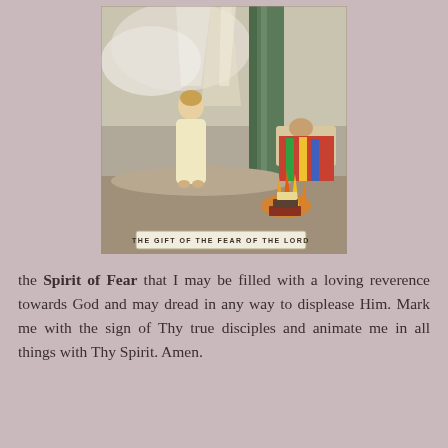[Figure (illustration): A religious illustration titled 'THE GIFT OF THE FEAR OF THE LORD'. Shows a child in a white robe with hands clasped, looking upward with light rays descending from above. To the right, a person bows over a ledge with flames and burning books below. A green curtain separates the two figures.]
the Spirit of Fear that I may be filled with a loving reverence towards God and may dread in any way to displease Him. Mark me with the sign of Thy true disciples and animate me in all things with Thy Spirit. Amen.